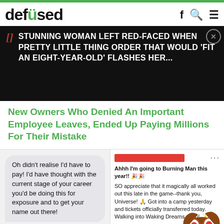defused
[Figure (screenshot): Advertisement banner on black background showing red bracket icon and text: STUNNING WOMAN LEFT RED-FACED WHEN PRETTY LITTLE THING ORDER THAT WOULD 'FIT AN EIGHT-YEAR-OLD' FLASHES HER...]
New Owners Who Denied An Important Employee Leaves, Ended Up Paying Millions For Their Mistake
Oh didn't realise I'd have to pay! I'd have thought with the current stage of your career you'd be doing this for exposure and to get your name out there!
Sadly neither my rent or bills can be paid in exposures.. Happy to do a song for the price above in time for your wedding. Let me know if I can help further
[Figure (screenshot): Social media post about Burning Man with Pepe the frog sticker overlay. Text: Ahhh I'm going to Burning Man this year!! SO appreciate that it magically all worked out this late in the game--thank you, Universe! Got into a camp yesterday and tickets officially transferred today. Walking into Waking Dreams soon! PS but hustle still on: if anyone in LA can help me w the following please lmk. 1. single cruiser bike 26 or 2... 2. can help transport m... bike and luggage fro... 3. fur coat 4. knows where to f... that feel like me on... 5. help me brainstc... followed by emojis]